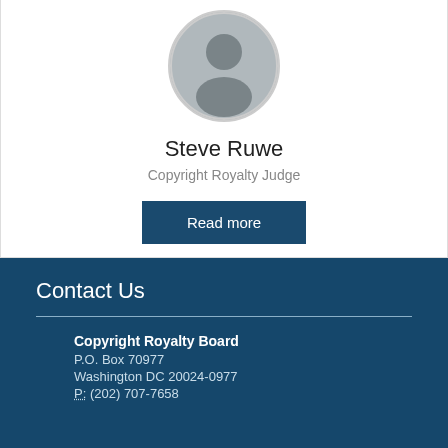[Figure (photo): Circular portrait photo of Steve Ruwe, a man in a dark judicial robe]
Steve Ruwe
Copyright Royalty Judge
Read more
Contact Us
Copyright Royalty Board
P.O. Box 70977
Washington DC 20024-0977
P: (202) 707-7658